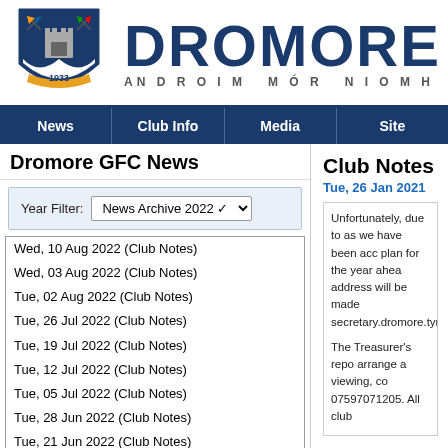[Figure (logo): Dromore GFC club crest shield with flags, 1933]
DROMORE
AN DROIM MÓR NIOMH DAMHN
News | Club Info | Media | Site
Dromore GFC News
Year Filter: News Archive 2022
Wed, 10 Aug 2022 (Club Notes)
Wed, 03 Aug 2022 (Club Notes)
Tue, 02 Aug 2022 (Club Notes)
Tue, 26 Jul 2022 (Club Notes)
Tue, 19 Jul 2022 (Club Notes)
Tue, 12 Jul 2022 (Club Notes)
Tue, 05 Jul 2022 (Club Notes)
Tue, 28 Jun 2022 (Club Notes)
Tue, 21 Jun 2022 (Club Notes)
Tue, 14 Jun 2022 (Club Notes)
Tue, 07 Jun 2022 (Club Notes)
Tue, 31 May 2022 (Club Notes)
Tue, 24 May 2022 (Club Notes)
Club Notes
Tue, 26 Jan 2021
Unfortunately, due to as we have been acc plan for the year ahea address will be made secretary.dromore.tyr

The Treasurer's repo arrange a viewing, co 07597071205. All club

We are grateful for th ahead at the earliest e for any positions, ther committee for the yea chairperson.dromore. committee at the earl We are sure all our cl arrangements have b also avoiding exclusio